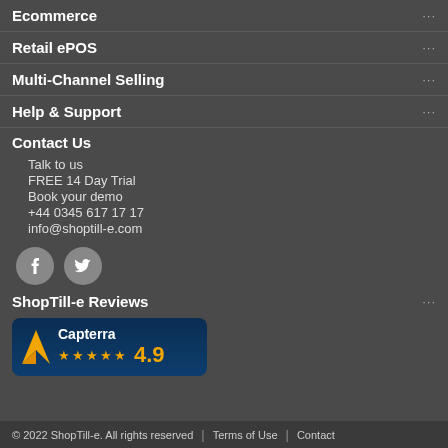Ecommerce ...
Retail ePOS ...
Multi-Channel Selling ...
Help & Support ...
Contact Us
Talk to us
FREE 14 Day Trial
Book your demo
+44 0345 617 17 17
info@shoptill-e.com
[Figure (illustration): Social media icons: Facebook and Twitter circular buttons]
ShopTill-e Reviews ...
[Figure (logo): Capterra badge showing 4.9 rating with 5 gold stars on dark blue background]
© 2022 ShopTill-e. All rights reserved | Terms of Use | Contact